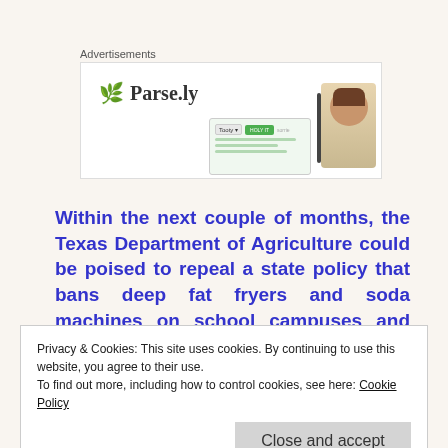Advertisements
[Figure (screenshot): Parse.ly advertisement banner with logo, a device/screen mockup showing a UI with a dropdown and green button, and a smiling woman with brown hair on the right side.]
Within the next couple of months, the Texas Department of Agriculture could be poised to repeal a state policy that bans deep fat fryers and soda machines on school campuses and places limits on the time and
Privacy & Cookies: This site uses cookies. By continuing to use this website, you agree to their use.
To find out more, including how to control cookies, see here: Cookie Policy
Close and accept